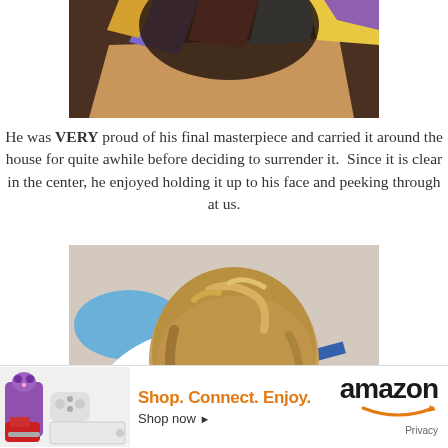[Figure (photo): Top portion of a craft project photo — colorful paper pieces on a brown cardboard background, partially cut off at top]
He was VERY proud of his final masterpiece and carried it around the house for quite awhile before deciding to surrender it.  Since it is clear in the center, he enjoyed holding it up to his face and peeking through at us.
[Figure (photo): Overhead view of a young boy with blonde hair wearing a blue and white striped shirt, lying or bending over on a carpeted floor, viewed from above]
[Figure (other): Amazon advertisement banner: 'Shop. Connect. Enjoy. Shop now' with Amazon logo and product images including a purple cat bag, red sneakers, and gaming accessories]